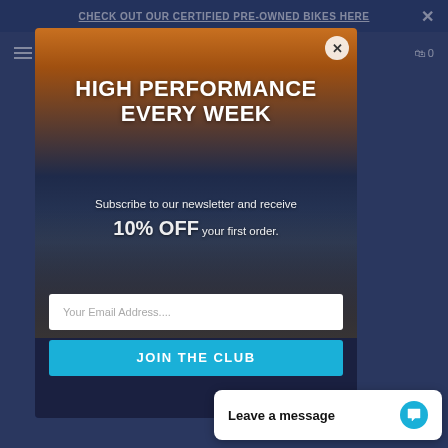CHECK OUT OUR CERTIFIED PRE-OWNED BIKES HERE
[Figure (screenshot): Newsletter subscription popup modal over a cycling/biking website. Background shows a cyclist's point of view on a road at sunset. Modal contains headline, subtitle, email input, and CTA button.]
HIGH PERFORMANCE EVERY WEEK
Subscribe to our newsletter and receive 10% OFF your first order.
Your Email Address....
JOIN THE CLUB
Leave a message